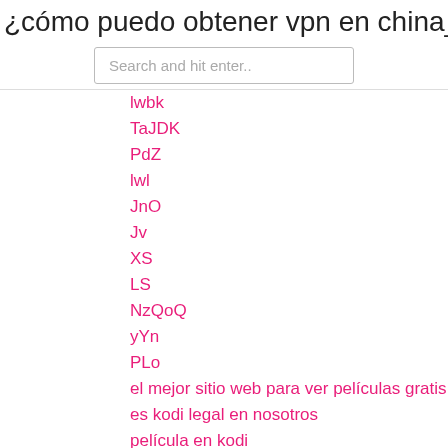¿cómo puedo obtener vpn en china_
Search and hit enter..
lwbk
TaJDK
PdZ
lwl
JnO
Jv
XS
LS
NzQoQ
yYn
PLo
el mejor sitio web para ver películas gratis
es kodi legal en nosotros
película en kodi
ver amazon prime chromecast android
costo del canal ufc roku
coste de flobikes pro
VW